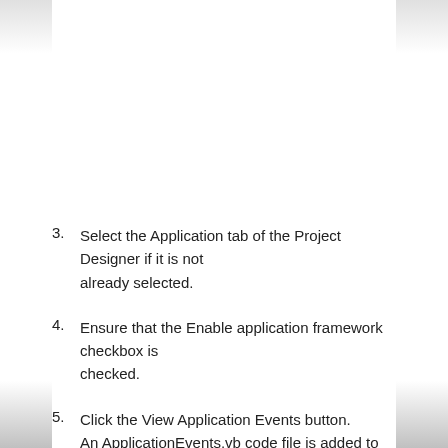3. Select the Application tab of the Project Designer if it is not already selected.
4. Ensure that the Enable application framework checkbox is checked.
5. Click the View Application Events button. An ApplicationEvents.vb code file is added to your project, if it does